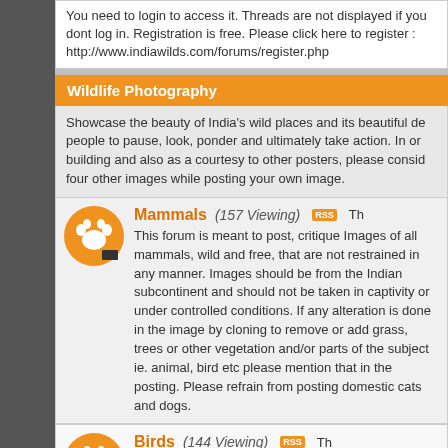You need to login to access it. Threads are not displayed if you dont log in. Registration is free. Please click here to register : http://www.indiawilds.com/forums/register.php
Wildlife Photography
Showcase the beauty of India's wild places and its beautiful de- people to pause, look, ponder and ultimately take action. In or- building and also as a courtesy to other posters, please consid- four other images while posting your own image.
Mammals (157 Viewing)
This forum is meant to post, critique Images of all mammals, wild and free, that are not restrained in any manner. Images should be from the Indian subcontinent and should not be taken in captivity or under controlled conditions. If any alteration is done in the image by cloning to remove or add grass, trees or other vegetation and/or parts of the subject ie. animal, bird etc please mention that in the posting. Please refrain from posting domestic cats and dogs.
Birds (144 Viewing)
This forum is meant to post, critique Images of all birds, wild and free, resident and migratory, that are not restrained in any manner. Images should not be taken in captivity or under controlled conditions and should be from the Indian subcontinent. If any alteration is done in the image by cloning to remove or add grass, trees or